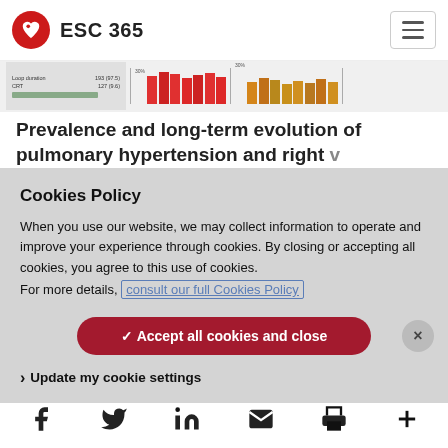ESC 365
[Figure (screenshot): Partial view of a medical data visualization with colored bar segments in red and orange/yellow]
Prevalence and long-term evolution of pulmonary hypertension and right
Cookies Policy
When you use our website, we may collect information to operate and improve your experience through cookies. By closing or accepting all cookies, you agree to this use of cookies.
For more details, consult our full Cookies Policy
✓ Accept all cookies and close
> Update my cookie settings